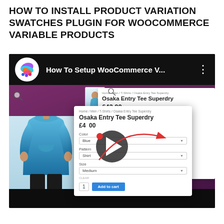HOW TO INSTALL PRODUCT VARIATION SWATCHES PLUGIN FOR WOOCOMMERCE VARIABLE PRODUCTS
[Figure (screenshot): YouTube-style video thumbnail showing a WooCommerce product page with variation swatches plugin demo. Left side shows a model in a blue hoodie. Two overlapping UI panels show product options: dropdown selectors on the left panel and color/pattern/size swatches on the right panel. A red arrow annotates the transformation from dropdowns to swatches. The video has a play button overlay. Channel logo and title 'How To Setup WooCommerce V...' shown at top.]